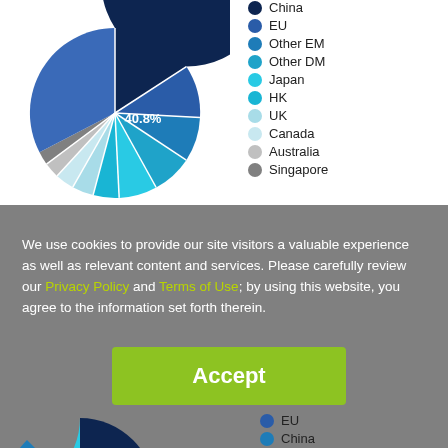[Figure (pie-chart): ]
We use cookies to provide our site visitors a valuable experience as well as relevant content and services. Please carefully review our Privacy Policy and Terms of Use; by using this website, you agree to the information set forth therein.
Global FI $123T
[Figure (pie-chart): Global FI $123T]